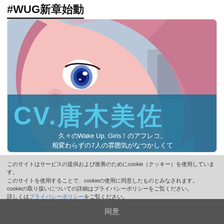#WUG新章始動
[Figure (illustration): Anime character side profile with pink hair, CV.唐木美佐 text overlay. Subtitle: 久々のWake Up, Girls！のアフレコ。相変わらずの7人の雰囲気がなつかしくて]
このサイトはサービスの提供および改善のためにcookieを使用しています。このサイトを使用することで、cookieの使用に同意したものとみなされます。cookieの取り扱いについての詳細はプライバシーポリシーをご覧ください。詳しくはこちらをご覧ください。
同意